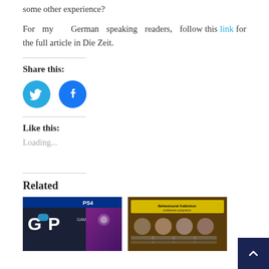some other experience?
For my German speaking readers, follow this link for the full article in Die Zeit.
Share this:
[Figure (illustration): Twitter and Facebook social sharing icon buttons (blue circles with white bird and f logos)]
Like this:
Loading...
Related
[Figure (photo): Game Transfer Phenomena (GTP) related image showing gaming imagery and PS4 logo]
[Figure (photo): Conference presentation slide about Behavioural Addiction with speaker photos]